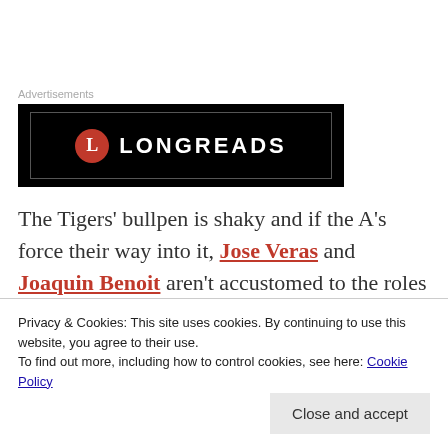[Figure (logo): Longreads advertisement banner with black background and red circular logo with letter L]
The Tigers' bullpen is shaky and if the A's force their way into it, Jose Veras and Joaquin Benoit aren't accustomed to the roles they'll face as post-season set-up man and closer.
A's boss Billy Beane makes an impassioned self...
Privacy & Cookies: This site uses cookies. By continuing to use this website, you agree to their use. To find out more, including how to control cookies, see here: Cookie Policy